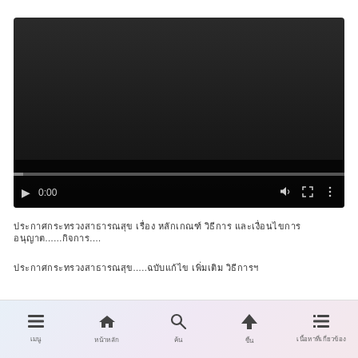[Figure (screenshot): Two-tone top bar with light blue on the left and light green/teal on the right]
[Figure (screenshot): Video player with dark background showing paused state at 0:00 with playback controls including play button, time display, volume, fullscreen, and more options icons, and a progress bar at the bottom]
ประกาศกระทรวงสาธารณสุข เรื่อง หลักเกณฑ์ วิธีการ และเงื่อนไขการอนุญาต.......กิจการ....
ประกาศกระทรวงสาธารณสุข.....ฉบับแก้ไข เพิ่มเติม วิธีการฯ
เมนู หน้าหลัก ค้น ขึ้น เนื้อหาที่เกี่ยวข้อง